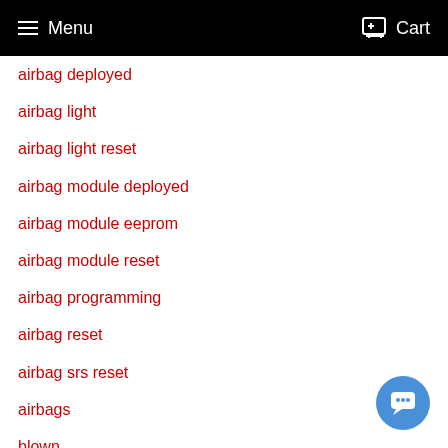Menu  Cart
airbag deployed
airbag light
airbag light reset
airbag module deployed
airbag module eeprom
airbag module reset
airbag programming
airbag reset
airbag srs reset
airbags
blown
blown seat belts
cadillac
calibrate car speedometer